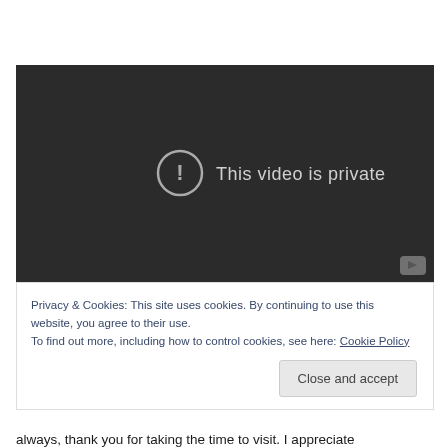[Figure (screenshot): Embedded video player showing 'This video is private' message with an exclamation circle icon on a dark background, with a YouTube play button in the bottom right corner.]
Privacy & Cookies: This site uses cookies. By continuing to use this website, you agree to their use.
To find out more, including how to control cookies, see here: Cookie Policy
Close and accept
always, thank you for taking the time to visit. I appreciate